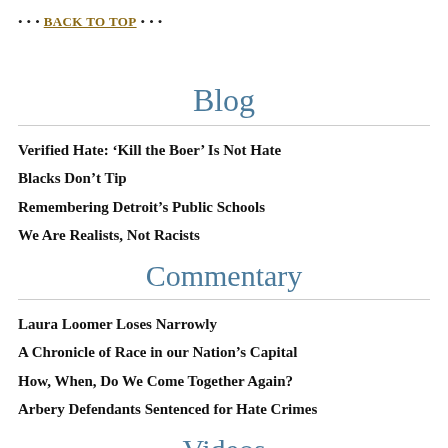• • • BACK TO TOP • • •
Blog
Verified Hate: 'Kill the Boer' Is Not Hate
Blacks Don't Tip
Remembering Detroit's Public Schools
We Are Realists, Not Racists
Commentary
Laura Loomer Loses Narrowly
A Chronicle of Race in our Nation's Capital
How, When, Do We Come Together Again?
Arbery Defendants Sentenced for Hate Crimes
Videos